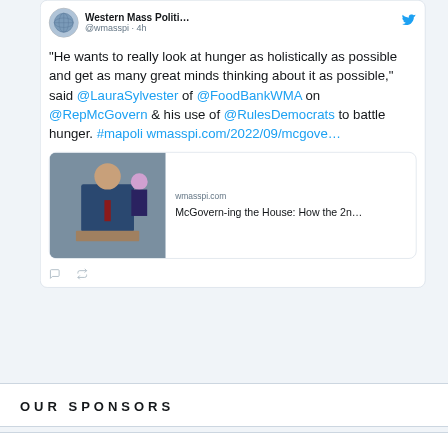[Figure (screenshot): Screenshot of a tweet from @wmasspi (Western Mass Politi...) posted 4 hours ago. Tweet text: "He wants to really look at hunger as holistically as possible and get as many great minds thinking about it as possible," said @LauraSylvester of @FoodBankWMA on @RepMcGovern & his use of @RulesDemocrats to battle hunger. #mapoli wmasspi.com/2022/09/mcgove... Includes a link preview card for wmasspi.com titled 'McGovern-ing the House: How the 2n...']
OUR SPONSORS